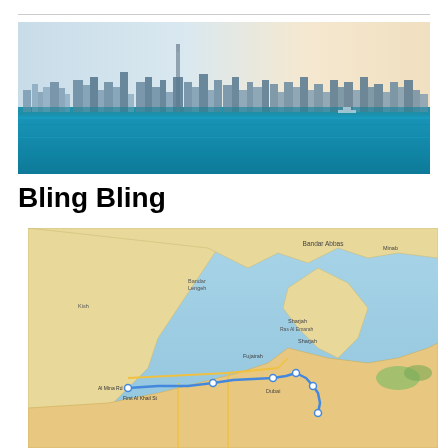[Figure (photo): Panoramic photo of the Dubai skyline viewed from across the water, showing tall skyscrapers including the Burj Khalifa, with blue sea in the foreground and a hazy sky above.]
Bling Bling
[Figure (map): Google Maps screenshot showing the UAE region including Sharjah, Dubai, Ras Al Khaimah, and surrounding areas with a blue route line marked through the streets. Labels include Al Mina Rd, First Al Khail St, Sharjah, Ras Al Emarah, Bandar Abbas, and other place names.]